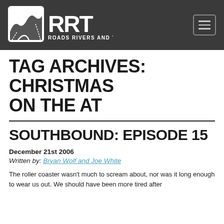RRT ROADS RIVERS AND TRAILS
TAG ARCHIVES: CHRISTMAS ON THE AT
SOUTHBOUND: EPISODE 15
December 21st 2006
Written by: Bryan Wolf and Joe White
The roller coaster wasn't much to scream about, nor was it long enough to wear us out. We should have been more tired after